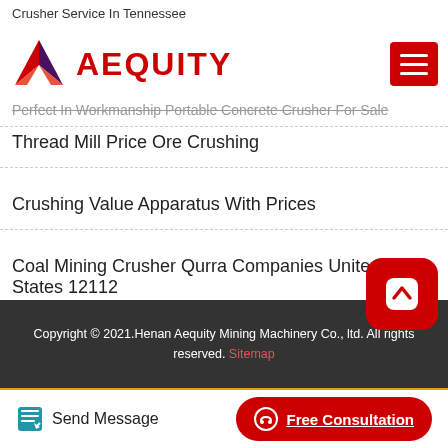Crusher Service In Tennessee
[Figure (logo): Aequity logo with red geometric mark and red AEQUITY text, plus red hamburger menu button]
Perfect In Workmanship Portable Concrete Crusher For Sale
Thread Mill Price Ore Crushing
Crushing Value Apparatus With Prices
Coal Mining Crusher Qurra Companies United States 12112
Project Report Of Feldspar Crusher
Copyright © 2021.Henan Aequity Mining Machinery Co., ltd. All rights reserved. Sitemap
Send Message   Free Consultation